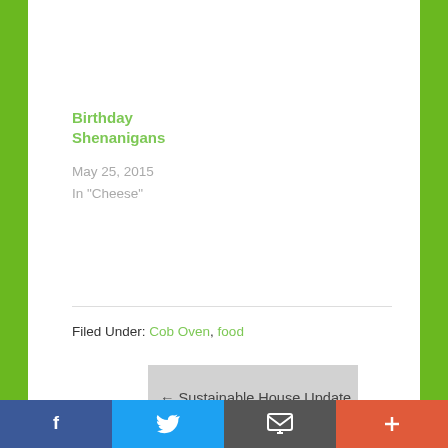Birthday Shenanigans
May 25, 2015
In "Cheese"
Filed Under: Cob Oven, food
← Sustainable House Update
TGoG Podcast 023 – Interview with Wendy Brown →
[Figure (screenshot): Social sharing bar with Facebook, Twitter, Email, and More (+) buttons]